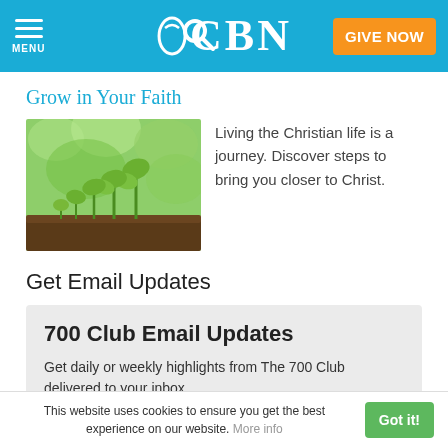CBN — MENU, Search, GIVE NOW
Grow in Your Faith
[Figure (photo): Seedlings growing from soil against a green bokeh background]
Living the Christian life is a journey. Discover steps to bring you closer to Christ.
Get Email Updates
700 Club Email Updates
Get daily or weekly highlights from The 700 Club delivered to your inbox.
700 Club Today
700 Club This Week
This website uses cookies to ensure you get the best experience on our website. More info  Got it!